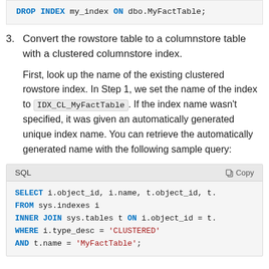DROP INDEX my_index ON dbo.MyFactTable;
3. Convert the rowstore table to a columnstore table with a clustered columnstore index.
First, look up the name of the existing clustered rowstore index. In Step 1, we set the name of the index to IDX_CL_MyFactTable. If the index name wasn't specified, it was given an automatically generated unique index name. You can retrieve the automatically generated name with the following sample query:
SQL  Copy
SELECT i.object_id, i.name, t.object_id, t.
FROM sys.indexes i
INNER JOIN sys.tables t ON i.object_id = t.
WHERE i.type_desc = 'CLUSTERED'
AND t.name = 'MyFactTable';